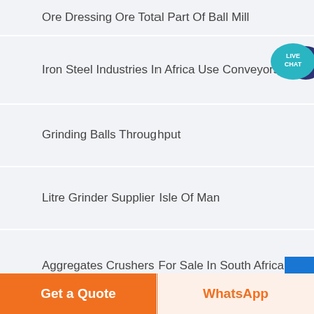Ore Dressing Ore Total Part Of Ball Mill
Iron Steel Industries In Africa Use Conveyors Belt
Grinding Balls Throughput
Litre Grinder Supplier Isle Of Man
Aggregates Crushers For Sale In South Africa
Quartz Crushing Machine Manufacturers Master Micron
[Figure (illustration): Live Chat speech bubble icon in teal/dark blue]
Get a Quote
WhatsApp